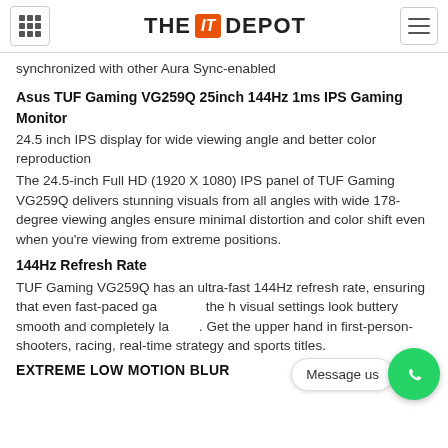THE IT DEPOT
synchronized with other Aura Sync-enabled
Asus TUF Gaming VG259Q 25inch 144Hz 1ms IPS Gaming Monitor
24.5 inch IPS display for wide viewing angle and better color reproduction
The 24.5-inch Full HD (1920 X 1080) IPS panel of TUF Gaming VG259Q delivers stunning visuals from all angles with wide 178-degree viewing angles ensure minimal distortion and color shift even when you're viewing from extreme positions.
144Hz Refresh Rate
TUF Gaming VG259Q has an ultra-fast 144Hz refresh rate, ensuring that even fast-paced ga the h visual settings look buttery smooth and completely la Get the upper hand in first-person-shooters, racing, real-time strategy and sports titles.
EXTREME LOW MOTION BLUR